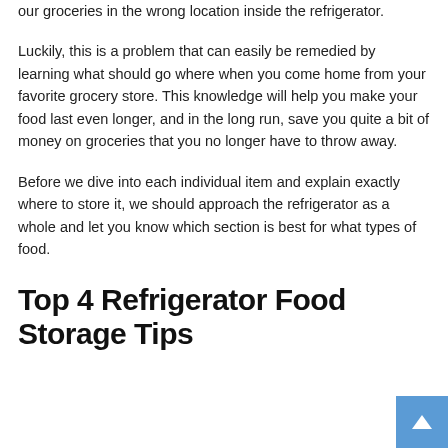our groceries in the wrong location inside the refrigerator.
Luckily, this is a problem that can easily be remedied by learning what should go where when you come home from your favorite grocery store. This knowledge will help you make your food last even longer, and in the long run, save you quite a bit of money on groceries that you no longer have to throw away.
Before we dive into each individual item and explain exactly where to store it, we should approach the refrigerator as a whole and let you know which section is best for what types of food.
Top 4 Refrigerator Food Storage Tips